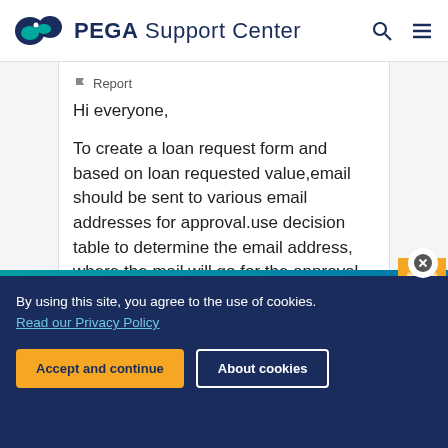PEGA Support Center
Report
Hi everyone,
To create a loan request form and based on loan requested value,email should be sent to various email addresses for approval.use decision table to determine the email address, where the mail will go for the approval.
NEED HELP OR WANT TO HELP OTHERS?
By using this site, you agree to the use of cookies. Read our Privacy Policy
Accept and continue   About cookies